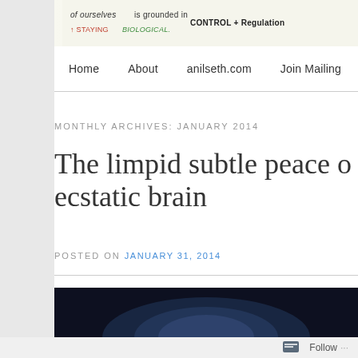[Figure (illustration): Partial view of a sketchnote/infographic with handwritten text about biological grounding, staying biological, control and regulation]
Home   About   anilseth.com   Join Mailing
MONTHLY ARCHIVES: JANUARY 2014
The limpid subtle peace o ecstatic brain
POSTED ON JANUARY 31, 2014
[Figure (photo): Dark blue/black image, partial view of what appears to be a brain illustration at the bottom of the page]
Follow ...